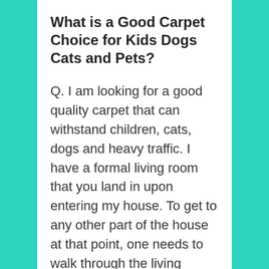What is a Good Carpet Choice for Kids Dogs Cats and Pets?
Q. I am looking for a good quality carpet that can withstand children, cats, dogs and heavy traffic. I have a formal living room that you land in upon entering my house. To get to any other part of the house at that point, one needs to walk through the living room. My biggest problem is the traffic marks from the front door, across the living room and